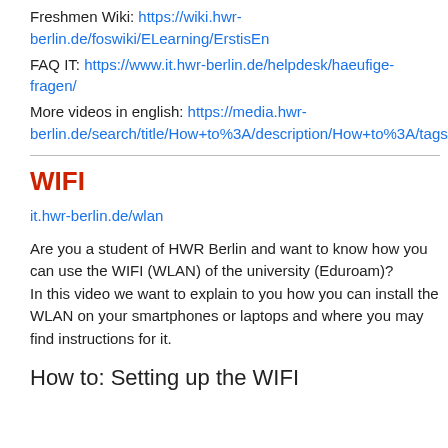Freshmen Wiki: https://wiki.hwr-berlin.de/foswiki/ELearning/ErstisEn
FAQ IT: https://www.it.hwr-berlin.de/helpdesk/haeufige-fragen/
More videos in english: https://media.hwr-berlin.de/search/title/How+to%3A/description/How+to%3A/tags/How
WIFI
it.hwr-berlin.de/wlan
Are you a student of HWR Berlin and want to know how you can use the WIFI (WLAN) of the university (Eduroam)?
In this video we want to explain to you how you can install the WLAN on your smartphones or laptops and where you may find instructions for it.
How to: Setting up the WIFI